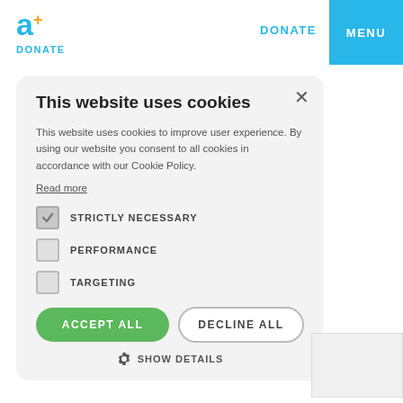[Figure (logo): a+ logo with blue 'a' and orange plus sign, with DONATE text below in blue]
DONATE
MENU
This website uses cookies
This website uses cookies to improve user experience. By using our website you consent to all cookies in accordance with our Cookie Policy.
Read more
STRICTLY NECESSARY
PERFORMANCE
TARGETING
ACCEPT ALL
DECLINE ALL
SHOW DETAILS